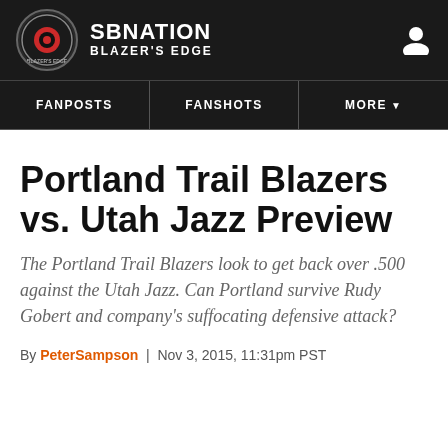SB NATION — BLAZER'S EDGE
Portland Trail Blazers vs. Utah Jazz Preview
The Portland Trail Blazers look to get back over .500 against the Utah Jazz. Can Portland survive Rudy Gobert and company's suffocating defensive attack?
By PeterSampson | Nov 3, 2015, 11:31pm PST